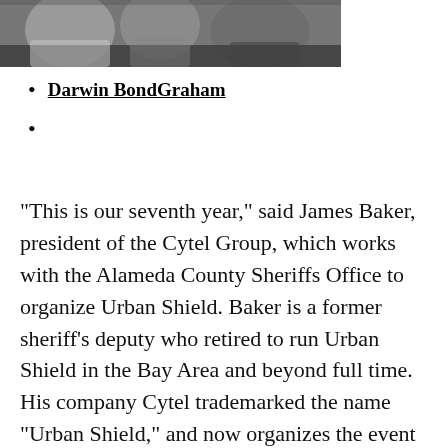[Figure (photo): A photograph of people at a table or event, partially cropped at the top of the page.]
Darwin BondGraham
“This is our seventh year,” said James Baker, president of the Cytel Group, which works with the Alameda County Sheriffs Office to organize Urban Shield. Baker is a former sheriff’s deputy who retired to run Urban Shield in the Bay Area and beyond full time. His company Cytel trademarked the name “Urban Shield,” and now organizes the event for other regional coalitions of law